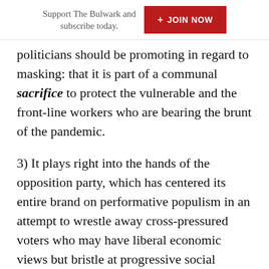Support The Bulwark and subscribe today.   + JOIN NOW
politicians should be promoting in regard to masking: that it is part of a communal sacrifice to protect the vulnerable and the front-line workers who are bearing the brunt of the pandemic.
3) It plays right into the hands of the opposition party, which has centered its entire brand on performative populism in an attempt to wrestle away cross-pressured voters who may have liberal economic views but bristle at progressive social pieties.
Now, on point #3 I already know what many of